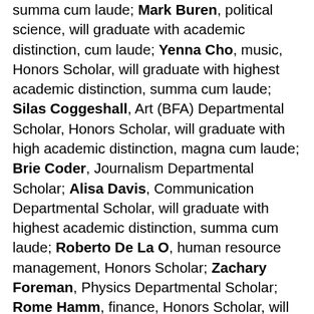summa cum laude; Mark Buren, political science, will graduate with academic distinction, cum laude; Yenna Cho, music, Honors Scholar, will graduate with highest academic distinction, summa cum laude; Silas Coggeshall, Art (BFA) Departmental Scholar, Honors Scholar, will graduate with high academic distinction, magna cum laude; Brie Coder, Journalism Departmental Scholar; Alisa Davis, Communication Departmental Scholar, will graduate with highest academic distinction, summa cum laude; Roberto De La O, human resource management, Honors Scholar; Zachary Foreman, Physics Departmental Scholar; Rome Hamm, finance, Honors Scholar, will graduate with highest academic distinction, summa cum laude; Kylee Hill, biology, Honors Scholar, will graduate with academic distinction, cum laude; James Hoerdeman, engineering technology, Honors Scholar, will graduate with highest academic distinction, summa cum laude; Heather Johnson, music, Honors Scholar, will graduate with highest academic distinction, summa cum laude;